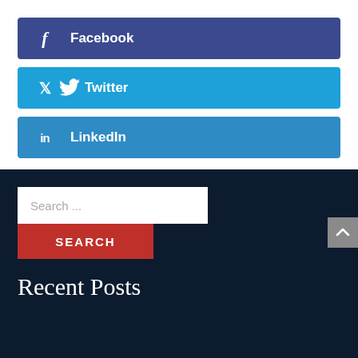Facebook
Twitter
LinkedIn
Search ...
SEARCH
Recent Posts
Possession of a Loaded Firearm in a Vehicle | CRS 33-6-125